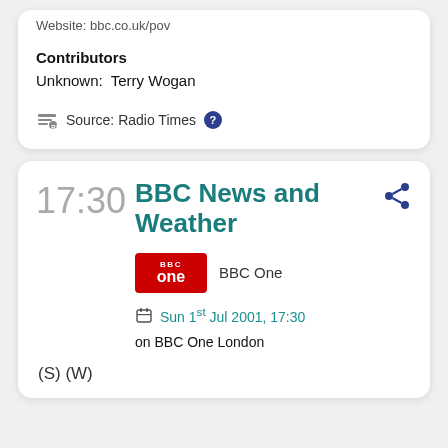Website: bbc.co.uk/pov
Contributors
Unknown:  Terry Wogan
Source: Radio Times
17:30
BBC News and Weather
BBC One
Sun 1st Jul 2001, 17:30 on BBC One London
(S) (W)